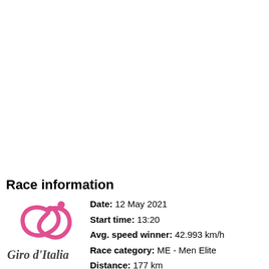Race information
[Figure (logo): Giro d'Italia logo with pink cycling figure and 'Giro d'Italia' text]
Date: 12 May 2021
Start time: 13:20
Avg. speed winner: 42.993 km/h
Race category: ME - Men Elite
Distance: 177 km
Points scale: GT.B.Stage
UCI scale: UCI.WR.GT.B.Stage
Parcours type: [flat icon]
ProfileScore: 0
Vert. meters: 263